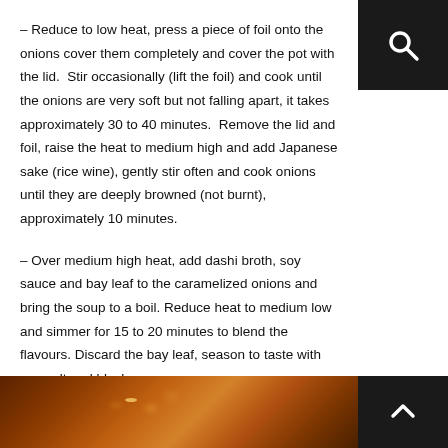– Reduce to low heat, press a piece of foil onto the onions cover them completely and cover the pot with the lid.  Stir occasionally (lift the foil) and cook until the onions are very soft but not falling apart, it takes approximately 30 to 40 minutes.  Remove the lid and foil, raise the heat to medium high and add Japanese sake (rice wine), gently stir often and cook onions until they are deeply browned (not burnt), approximately 10 minutes.
– Over medium high heat, add dashi broth, soy sauce and bay leaf to the caramelized onions and bring the soup to a boil. Reduce heat to medium low and simmer for 15 to 20 minutes to blend the flavours. Discard the bay leaf, season to taste with sea salt and black pepper.
[Figure (photo): Partial photo strip showing caramelized onion soup with a dark brown broth and small bright highlights, visible at the bottom of the page]